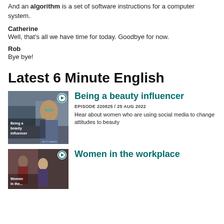And an algorithm is a set of software instructions for a computer system.
Catherine
Well, that's all we have time for today. Goodbye for now.
Rob
Bye bye!
Latest 6 Minute English
[Figure (photo): Photo of a woman wearing sunglasses on a city street with text overlay 'Being a beauty influencer']
Being a beauty influencer
EPISODE 220825 / 25 AUG 2022
Hear about women who are using social media to change attitudes to beauty
[Figure (photo): Photo of women in an office/workplace setting with text overlay 'Women in the workplace']
Women in the workplace